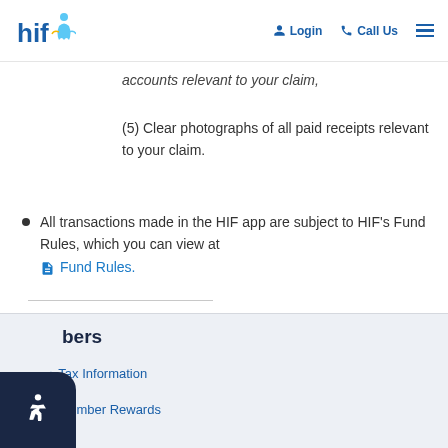HIF — Login | Call Us | Menu
accounts relevant to your claim,
(5) Clear photographs of all paid receipts relevant to your claim.
All transactions made in the HIF app are subject to HIF's Fund Rules, which you can view at Fund Rules.
bers
> Tax Information
> Member Rewards